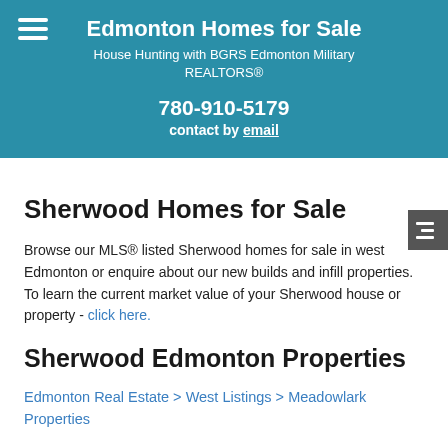Edmonton Homes for Sale
House Hunting with BGRS Edmonton Military REALTORS®
780-910-5179
contact by email
Sherwood Homes for Sale
Browse our MLS® listed Sherwood homes for sale in west Edmonton or enquire about our new builds and infill properties. To learn the current market value of your Sherwood house or property - click here.
Sherwood Edmonton Properties
Edmonton Real Estate > West Listings > Meadowlark Properties